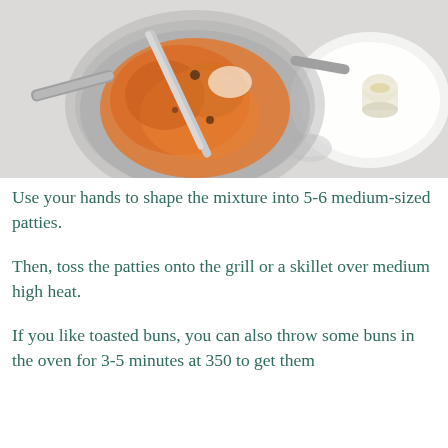[Figure (photo): Overhead view of a metal strainer/colander containing an orange-colored mixture being stirred with a spoon, alongside small glass bowls on a white surface, likely a food preparation scene.]
Use your hands to shape the mixture into 5-6 medium-sized patties.
Then, toss the patties onto the grill or a skillet over medium high heat.
If you like toasted buns, you can also throw some buns in the oven for 3-5 minutes at 350 to get them